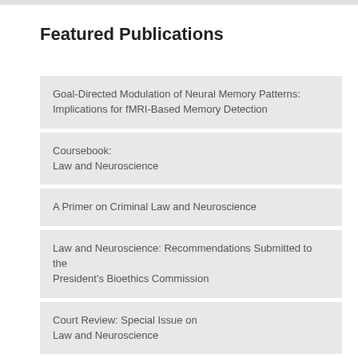Featured Publications
Goal-Directed Modulation of Neural Memory Patterns: Implications for fMRI-Based Memory Detection
Coursebook:
Law and Neuroscience
A Primer on Criminal Law and Neuroscience
Law and Neuroscience: Recommendations Submitted to the President's Bioethics Commission
Court Review: Special Issue on
Law and Neuroscience
Neuroscientists in Court
Law and Neuroscience
( Journal of Neuroscience)